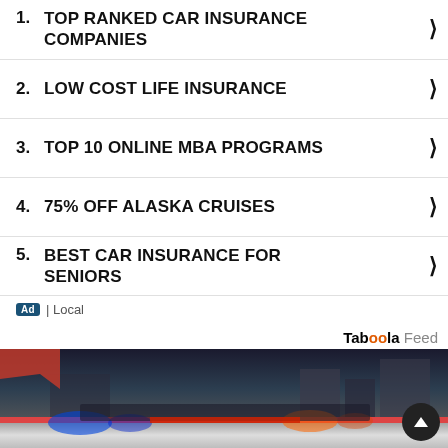1. TOP RANKED CAR INSURANCE COMPANIES
2. LOW COST LIFE INSURANCE
3. TOP 10 ONLINE MBA PROGRAMS
4. 75% OFF ALASKA CRUISES
5. BEST CAR INSURANCE FOR SENIORS
Ad | Local
Taboola Feed
[Figure (photo): Police car with flashing blue and orange/red lights on top, city background]
[Figure (photo): La-Z-Boy advertisement banner with teal sofa image and text 'Sales ends soon!']